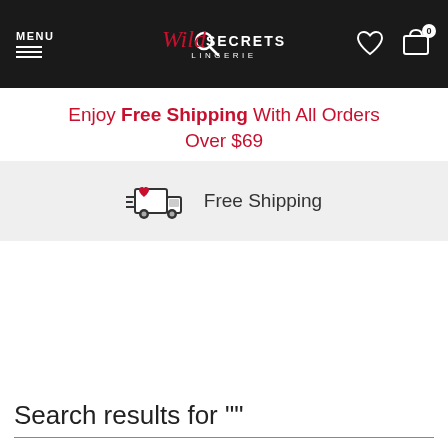MENU | Search | Wild Secrets Lingerie | Wishlist | Cart (0)
Enjoy Free Shipping With All Orders Over $69
[Figure (infographic): Delivery truck icon with heart, labeled Free Shipping]
Search results for ""